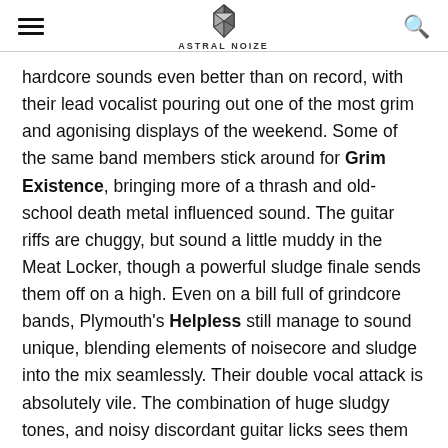ASTRAL NOIZE
hardcore sounds even better than on record, with their lead vocalist pouring out one of the most grim and agonising displays of the weekend. Some of the same band members stick around for Grim Existence, bringing more of a thrash and old-school death metal influenced sound. The guitar riffs are chuggy, but sound a little muddy in the Meat Locker, though a powerful sludge finale sends them off on a high. Even on a bill full of grindcore bands, Plymouth's Helpless still manage to sound unique, blending elements of noisecore and sludge into the mix seamlessly. Their double vocal attack is absolutely vile. The combination of huge sludgy tones, and noisy discordant guitar licks sees them conquer the main stage. Krupskaya are surely the fastest band of the festival, though, with hyperspeed blastbeats across the brightest in grits and...